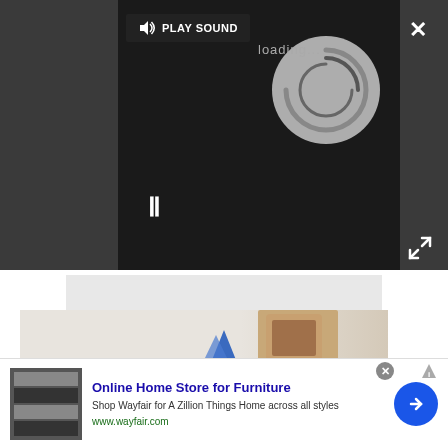[Figure (screenshot): Video player overlay on dark background showing a loading spinner, PLAY SOUND button, pause button, close X, and fullscreen expand icon]
[Figure (photo): Partially visible lifestyle photo strip showing a coffee cup and blue decorative items on a light background]
[Figure (screenshot): Advertisement banner for Wayfair Online Home Store for Furniture with product image, headline, description, URL, and arrow CTA button]